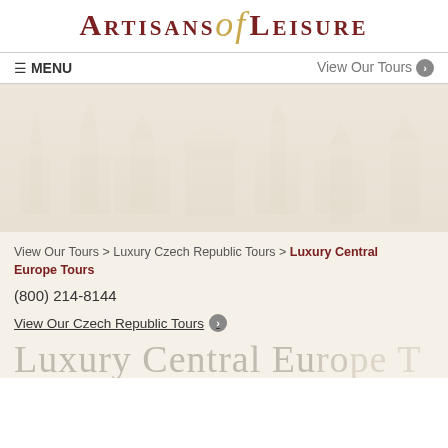[Figure (logo): Artisans of Leisure logo with stylized script 'of' in gold between dark red small-caps text]
≡ MENU    View Our Tours ›
[Figure (photo): Faded cityscape hero image with muted beige tones showing a European city skyline]
View Our Tours > Luxury Czech Republic Tours > Luxury Central Europe Tours
(800) 214-8144
View Our Czech Republic Tours ›
Luxury Central Europe T...